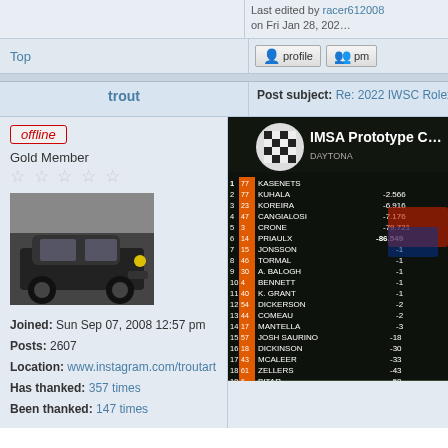Last edited by racer612008 on Fri Jan 28, 202...
Top
profile  pm
trout
Post subject: Re: 2022 IWSC Rolex 24 at Day...
offline
Gold Member
[Figure (photo): Black BMW E30 car photo, avatar image]
Joined: Sun Sep 07, 2008 12:57 pm
Posts: 2607
Location: www.instagram.com/troutart
Has thanked: 357 times
Been thanked: 147 times
[Figure (screenshot): IMSA Prototype Championship race results showing positions 1-20 with driver names and gap times, overlaid on racing photo]